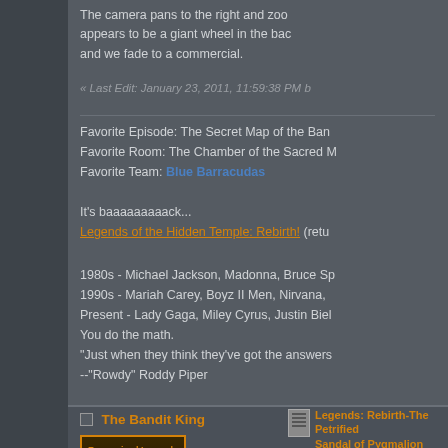The camera pans to the right and zoom appears to be a giant wheel in the back and we fade to a commercial.
« Last Edit: January 23, 2011, 11:59:38 PM b
Favorite Episode: The Secret Map of the Ban
Favorite Room: The Chamber of the Sacred M
Favorite Team: Blue Barracudas
It's baaaaaaaaack...
Legends of the Hidden Temple: Rebirth! (retu
1980s - Michael Jackson, Madonna, Bruce Sp
1990s - Mariah Carey, Boyz II Men, Nirvana,
Present - Lady Gaga, Miley Cyrus, Justin Biel
You do the math.
"Just when they think they've got the answers
--"Rowdy" Roddy Piper
The Bandit King
[Figure (illustration): Recognized Legends God badge/banner with golden border]
[Figure (photo): Avatar image showing a dark scene]
Legends: Rebirth-The Petrified Sandal of Pygmalion
« Reply #2 on: November 30, 2009, 01:55:59
We return from the break and see Kirk remaining teams.